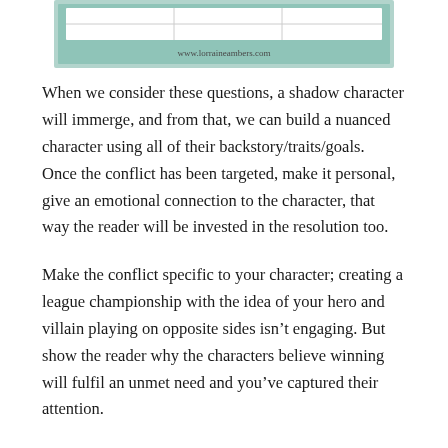[Figure (other): Partial view of a table/worksheet with teal/mint background and website URL www.lorraineambers.com at the bottom]
When we consider these questions, a shadow character will immerge, and from that, we can build a nuanced character using all of their backstory/traits/goals.  Once the conflict has been targeted, make it personal, give an emotional connection to the character, that way the reader will be invested in the resolution too.
Make the conflict specific to your character; creating a league championship with the idea of your hero and villain playing on opposite sides isn’t engaging. But show the reader why the characters believe winning will fulfil an unmet need and you’ve captured their attention.